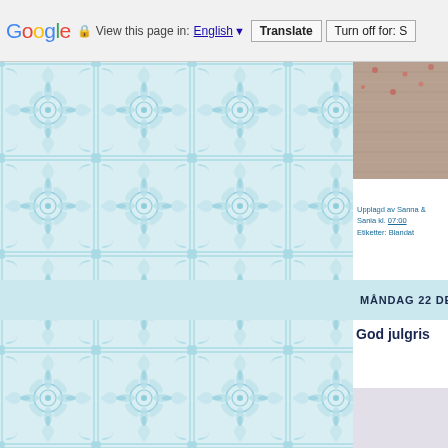Google  View this page in: English ▼  Translate  Turn off for: S
[Figure (illustration): Decorative light blue Moroccan/Portuguese tile pattern background on the left side of the page]
[Figure (photo): Partial photo visible in top right corner, appears to show fabric or textile with warm reddish/pink tones]
Upplagd av Sanna & Sania kl. 07:00
Etiketter: Blandat
MÅNDAG 22 DECEMBER 2014
God julgris
[Figure (photo): Partial photo at bottom right, light gray/lavender tones, content unclear]